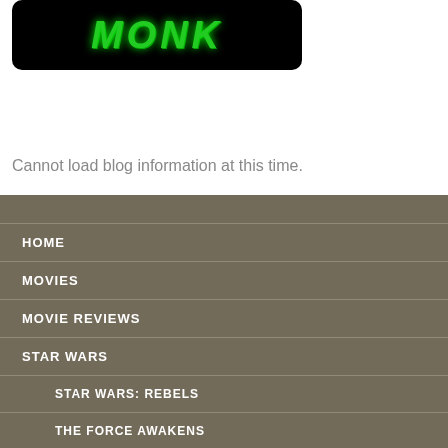[Figure (logo): Dark/black rounded rectangle with green glowing stylized text logo]
Cannot load blog information at this time.
HOME
MOVIES
MOVIE REVIEWS
STAR WARS
STAR WARS: REBELS
THE FORCE AWAKENS